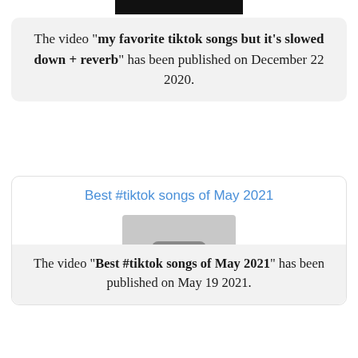[Figure (other): Black horizontal bar at top of page, likely a redacted header or logo]
The video "my favorite tiktok songs but it's slowed down + reverb" has been published on December 22 2020.
Best #tiktok songs of May 2021
[Figure (other): Video thumbnail placeholder showing three dots icon on grey background]
The video "Best #tiktok songs of May 2021" has been published on May 19 2021.